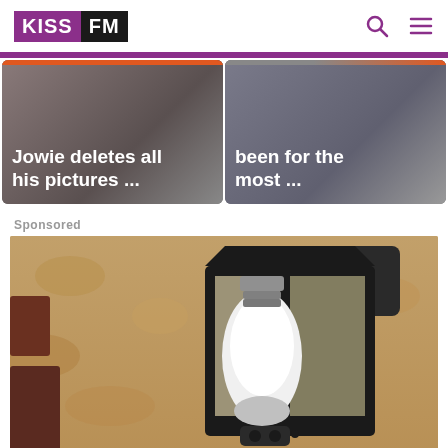[Figure (logo): KISS FM logo with purple KISS and black FM text]
Jowie deletes all his pictures ...
been for the most ...
Sponsored
[Figure (photo): A black outdoor wall lantern with a large white bulb, mounted on a textured stone or stucco wall]